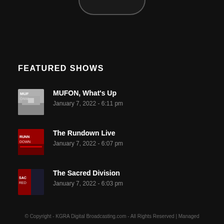[Figure (other): Top rounded button/arc shape at top center of page]
FEATURED SHOWS
MUFON, What's Up
January 7, 2022 - 6:11 pm
The Rundown Live
January 7, 2022 - 6:07 pm
The Sacred Division
January 7, 2022 - 6:03 pm
© Copyright - KGRA Digital Broadcasting.com - All Rights Reserved | Managed